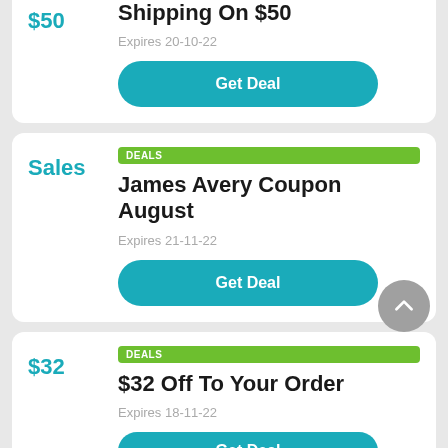$50
Shipping On $50
Expires 20-10-22
Get Deal
DEALS
James Avery Coupon August
Sales
Expires 21-11-22
Get Deal
DEALS
$32 Off To Your Order
$32
Expires 18-11-22